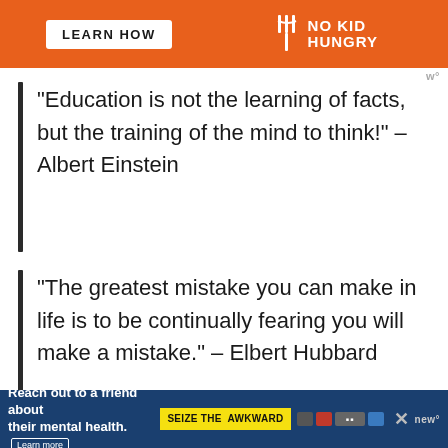[Figure (other): Top advertisement banner: orange background with 'LEARN HOW' button and 'NO KID HUNGRY' logo with fork icon]
“Education is not the learning of facts, but the training of the mind to think!” – Albert Einstein
“The greatest mistake you can make in life is to be continually fearing you will make a mistake.” – Elbert Hubbard
[Figure (other): Bottom advertisement banner: dark blue background with 'Reach out to a friend about their mental health. Learn more' and 'SEIZE THE AWKWARD' badge with partner logos]